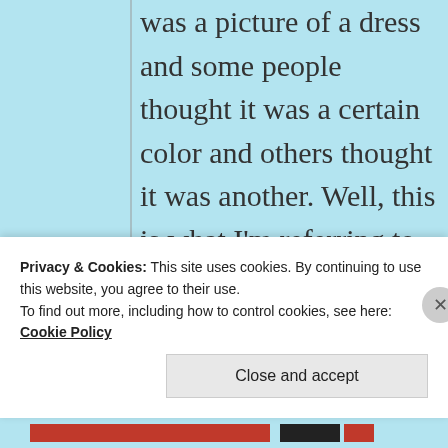was a picture of a dress and some people thought it was a certain color and others thought it was another. Well, this is what I'm referring to when I talk about the tools we need to employ to come to a
Privacy & Cookies: This site uses cookies. By continuing to use this website, you agree to their use.
To find out more, including how to control cookies, see here: Cookie Policy
Close and accept